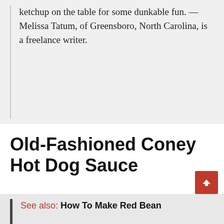ketchup on the table for some dunkable fun. — Melissa Tatum, of Greensboro, North Carolina, is a freelance writer.
Old-Fashioned Coney Hot Dog Sauce
Camping and hot dogs are inextricably linked. Raise some chicken breasts over an open fire and serve them with this delectable one-pot sauce. Lori Cargill Bustos of Phoenix, Arizona sent this in: Here are some additional hot dog toppings to try if you haven't before.
See also: How To Make Red Bean